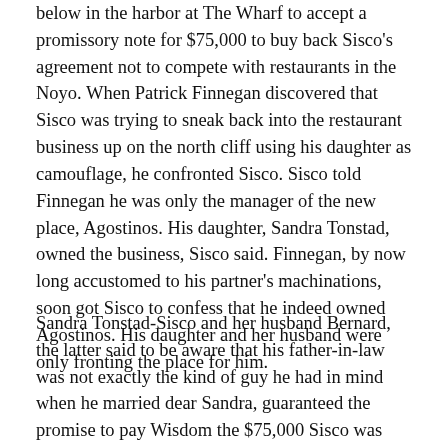below in the harbor at The Wharf to accept a promissory note for $75,000 to buy back Sisco's agreement not to compete with restaurants in the Noyo. When Patrick Finnegan discovered that Sisco was trying to sneak back into the restaurant business up on the north cliff using his daughter as camouflage, he confronted Sisco. Sisco told Finnegan he was only the manager of the new place, Agostinos. His daughter, Sandra Tonstad, owned the business, Sisco said. Finnegan, by now long accustomed to his partner's machinations, soon got Sisco to confess that he indeed owned Agostinos. His daughter and her husband were only fronting the place for him.
Sandra Tonstad-Sisco and her husband Bernard, the latter said to be aware that his father-in-law was not exactly the kind of guy he had in mind when he married dear Sandra, guaranteed the promise to pay Wisdom the $75,000 Sisco was paying to buy back the No